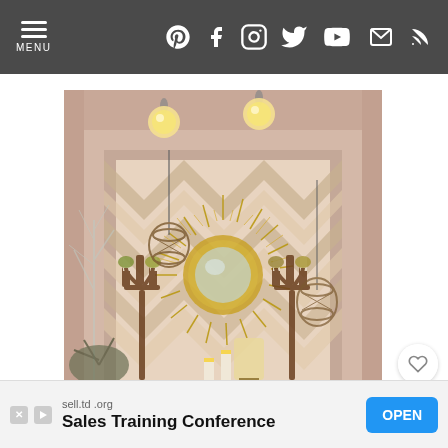MENU ☰ — navigation bar with social icons: Pinterest, Facebook, Instagram, Twitter, YouTube, Email, RSS
[Figure (photo): Interior home decor photo showing a niche wall with chevron/zigzag painted pattern in gold and white, featuring a sunburst mirror in the center, two candelabras with green glass candle holders, hanging wire lanterns, and globe pendant lights above. Decorative branches and plants visible on sides.]
sell.td.org
Sales Training Conference
OPEN